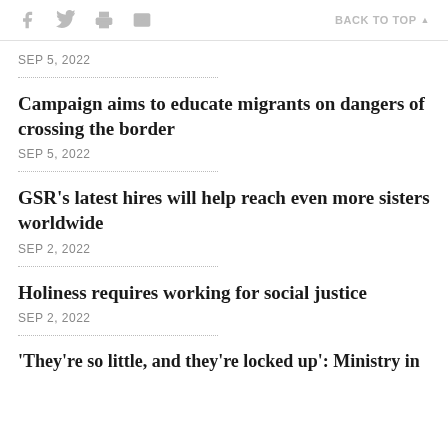f [facebook] [twitter] [print] [email] BACK TO TOP
SEP 5, 2022
Campaign aims to educate migrants on dangers of crossing the border
SEP 5, 2022
GSR's latest hires will help reach even more sisters worldwide
SEP 2, 2022
Holiness requires working for social justice
SEP 2, 2022
'They're so little, and they're locked up': Ministry in